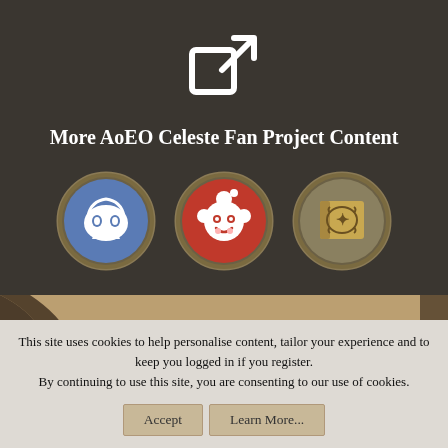[Figure (illustration): External link icon (square with arrow pointing out) in white on dark background]
More AoEO Celeste Fan Project Content
[Figure (illustration): Three circular stone-rimmed icons: Discord (blue), Reddit (red), and a book/wiki icon]
[Figure (photo): Background image with sandy/sepia tones showing a dark cloaked figure and mountain silhouettes]
Forum software by XenForo™ | [HA] Missing Icons
Some XenForo functionality crafted by ThemeHouse
Theme designed by ThemeHouse
This site uses cookies to help personalise content, tailor your experience and to keep you logged in if you register.
By continuing to use this site, you are consenting to our use of cookies.